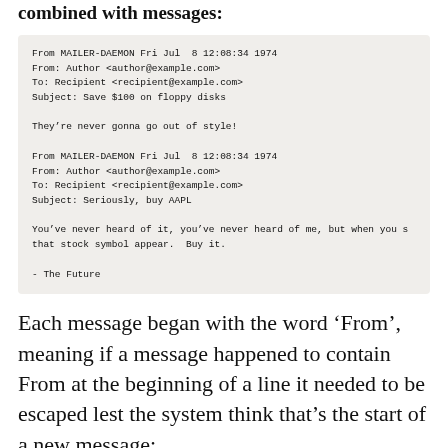combined with messages:
From MAILER-DAEMON Fri Jul  8 12:08:34 1974
From: Author <author@example.com>
To: Recipient <recipient@example.com>
Subject: Save $100 on floppy disks

They're never gonna go out of style!

From MAILER-DAEMON Fri Jul  8 12:08:34 1974
From: Author <author@example.com>
To: Recipient <recipient@example.com>
Subject: Seriously, buy AAPL

You've never heard of it, you've never heard of me, but when you s
that stock symbol appear.  Buy it.

- The Future
Each message began with the word ‘From’, meaning if a message happened to contain From at the beginning of a line it needed to be escaped lest the system think that’s the start of a new message: